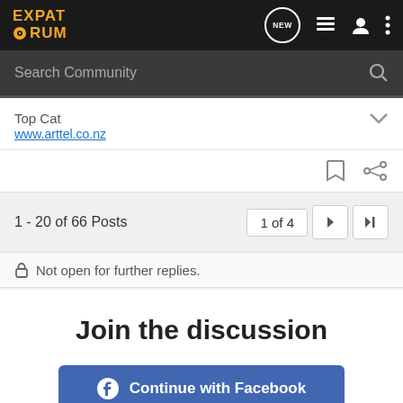[Figure (logo): Expat Forum logo in orange/yellow on dark background]
Search Community
Top Cat
www.arttel.co.nz
1 - 20 of 66 Posts
1 of 4
Not open for further replies.
Join the discussion
Continue with Facebook